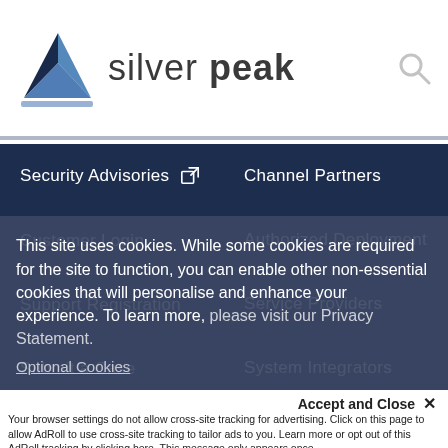[Figure (logo): Silver Peak logo with stylized triangle icon and company name in grey text]
Security Advisories [external link icon]
Channel Partners
Customer Login
Authorized Deployment
Support Registration
Service Providers
Submit a Case
System Integrators
Become a Partner
This site uses cookies. While some cookies are required for the site to function, you can enable other non-essential cookies that will personalise and enhance your experience. To learn more, please visit our Privacy Statement.
Optional Cookies
Accept and Close ✕
Your browser settings do not allow cross-site tracking for advertising. Click on this page to allow AdRoll to use cross-site tracking to tailor ads to you. Learn more or opt out of this AdRoll tracking by clicking here. This message only appears once.